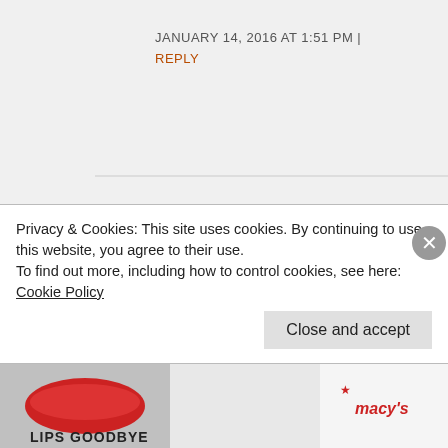JANUARY 14, 2016 AT 1:51 PM |
REPLY
[Figure (photo): Circular avatar photo of a person with glasses]
FrugalHausfrau
It really looks amazing! Stunning! We
Privacy & Cookies: This site uses cookies. By continuing to use this website, you agree to their use.
To find out more, including how to control cookies, see here:
Cookie Policy
Close and accept
[Figure (photo): Bottom banner advertisement for Macy's featuring red lips and the text LIPS GOODBYE]